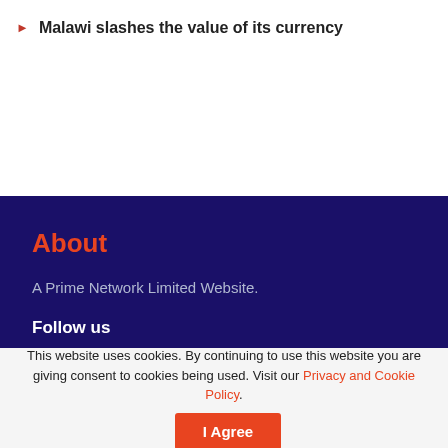Malawi slashes the value of its currency
About
A Prime Network Limited Website.
Follow us
[Figure (infographic): Social media icons: Facebook, Twitter, YouTube, RSS feed]
This website uses cookies. By continuing to use this website you are giving consent to cookies being used. Visit our Privacy and Cookie Policy.
I Agree